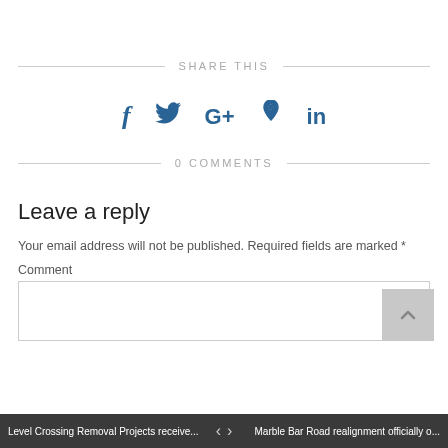SHARE THIS
[Figure (infographic): Social media share icons: Facebook, Twitter, Google+, Pinterest, LinkedIn in blue]
0 COMMENTS
Leave a reply
Your email address will not be published. Required fields are marked *
Comment
Level Crossing Removal Projects receive... < > Marble Bar Road realignment officially o...